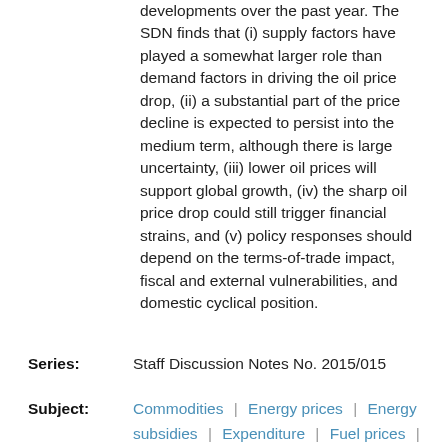developments over the past year. The SDN finds that (i) supply factors have played a somewhat larger role than demand factors in driving the oil price drop, (ii) a substantial part of the price decline is expected to persist into the medium term, although there is large uncertainty, (iii) lower oil prices will support global growth, (iv) the sharp oil price drop could still trigger financial strains, and (v) policy responses should depend on the terms-of-trade impact, fiscal and external vulnerabilities, and domestic cyclical position.
Series: Staff Discussion Notes No. 2015/015
Subject: Commodities | Energy prices | Energy subsidies | Expenditure | Fuel prices |